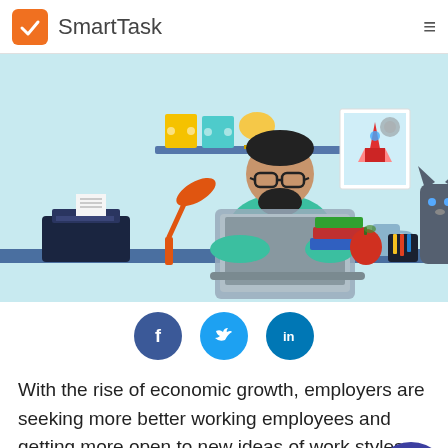SmartTask
[Figure (illustration): Illustration of a bearded man with glasses working on a laptop at a home desk. On the desk there is a cat, coffee mug, books, an apple, and a pencil holder. On the left is a printer and an orange desk lamp. On the shelf above are binders and a trophy. On the wall is a rocket poster. The background is light blue.]
[Figure (infographic): Three social share buttons: Facebook (f) in dark blue, Twitter (bird) in light blue, LinkedIn (in) in medium blue, arranged in a row.]
With the rise of economic growth, employers are seeking more better working employees and getting more open to new ideas of working styles. Working from home is one such new